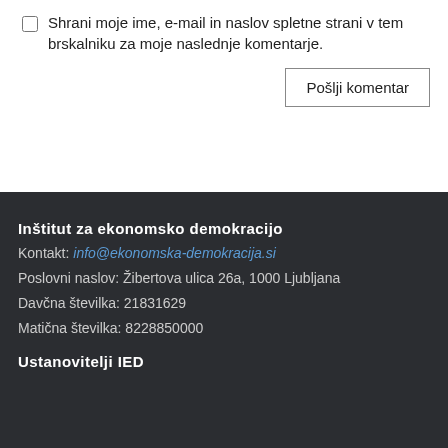Shrani moje ime, e-mail in naslov spletne strani v tem brskalniku za moje naslednje komentarje.
Pošlji komentar
Inštitut za ekonomsko demokracijo
Kontakt: info@ekonomska-demokracija.si
Poslovni naslov: Žibertova ulica 26a, 1000 Ljubljana
Davčna številka: 21831629
Matična številka: 8228850000
Ustanovitelji IED